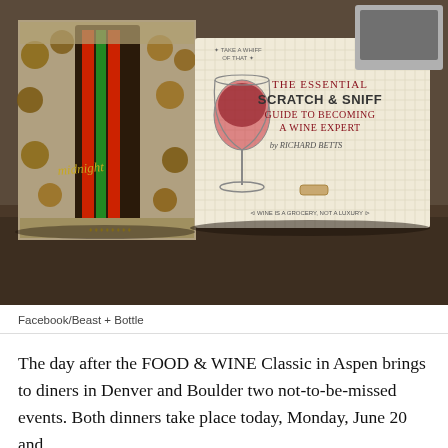[Figure (photo): Photograph of two books/items on a table: on the left, a colorful book with faces and clocks design, partly showing text and artwork; on the right, 'The Essential Scratch & Sniff Guide to Becoming a Wine Expert by Richard Betts' with a wine glass illustration on a grid-paper style cover.]
Facebook/Beast + Bottle
The day after the FOOD & WINE Classic in Aspen brings to diners in Denver and Boulder two not-to-be-missed events. Both dinners take place today, Monday, June 20 and